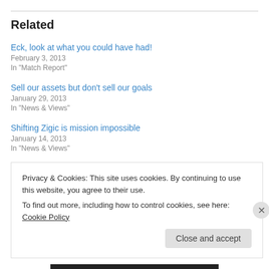Related
Eck, look at what you could have had!
February 3, 2013
In "Match Report"
Sell our assets but don’t sell our goals
January 29, 2013
In "News & Views"
Shifting Zigic is mission impossible
January 14, 2013
In "News & Views"
Privacy & Cookies: This site uses cookies. By continuing to use this website, you agree to their use.
To find out more, including how to control cookies, see here: Cookie Policy